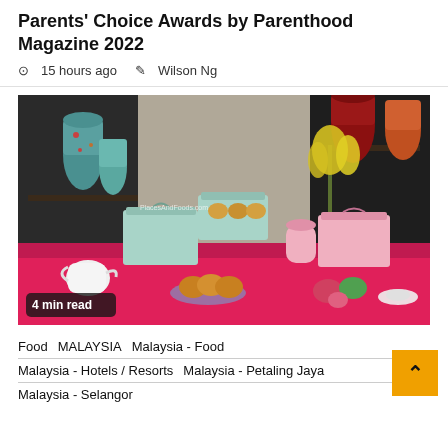Parents' Choice Awards by Parenthood Magazine 2022
15 hours ago  Wilson Ng
[Figure (photo): Photo of mooncake gift boxes and mooncakes displayed on a pink fabric-draped table, with decorative vases and yellow flowers in the background. Watermark reads PlacesAndFoods.com. Badge reads '4 min read'.]
Food  MALAYSIA  Malaysia - Food
Malaysia - Hotels / Resorts  Malaysia - Petaling Jaya
Malaysia - Selangor